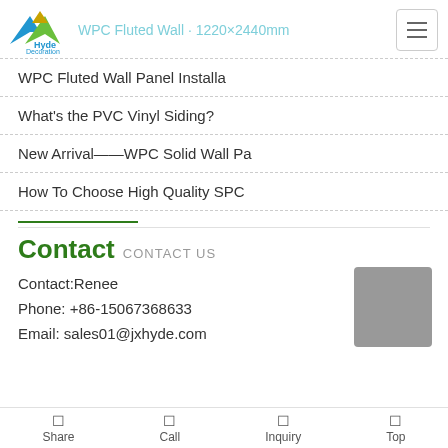Hyde Decoration — WPC Fluted Wall · 1220×2440mm
WPC Fluted Wall Panel Installa
What's the PVC Vinyl Siding?
New Arrival——WPC Solid Wall Pa
How To Choose High Quality SPC
Contact  CONTACT US
Contact:Renee
Phone: +86-15067368633
Email: sales01@jxhyde.com
Share  Call  Inquiry  Top